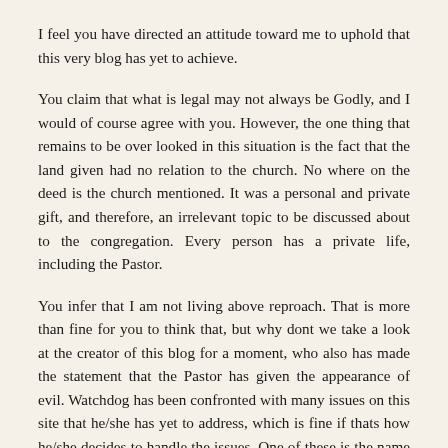I feel you have directed an attitude toward me to uphold that this very blog has yet to achieve.
You claim that what is legal may not always be Godly, and I would of course agree with you. However, the one thing that remains to be over looked in this situation is the fact that the land given had no relation to the church. No where on the deed is the church mentioned. It was a personal and private gift, and therefore, an irrelevant topic to be discussed about to the congregation. Every person has a private life, including the Pastor.
You infer that I am not living above reproach. That is more than fine for you to think that, but why dont we take a look at the creator of this blog for a moment, who also has made the statement that the Pastor has given the appearance of evil. Watchdog has been confronted with many issues on this site that he/she has yet to address, which is fine if thats how he/she decides to handle the issues. One of these is the name calling of the Pastor on this site and his allowance of others to call the Pastor all sorts of names such as Texas Carpetbagger, thief, liar, hypocrite and pompous ass, just to name a few. Im sorry to tell